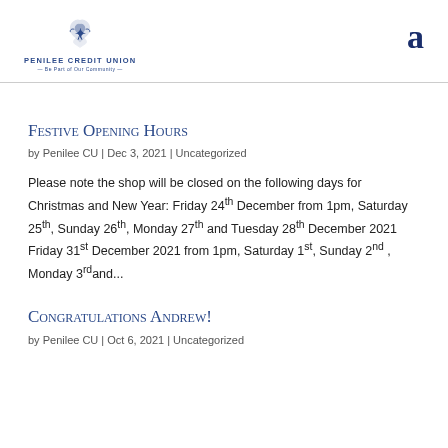[Figure (logo): Penilee Credit Union logo with hands and text 'Penilee Credit Union - Be Part of Our Community']
a
Festive Opening Hours
by Penilee CU | Dec 3, 2021 | Uncategorized
Please note the shop will be closed on the following days for Christmas and New Year: Friday 24th December from 1pm, Saturday 25th, Sunday 26th, Monday 27th and Tuesday 28th December 2021 Friday 31st December 2021 from 1pm, Saturday 1st, Sunday 2nd , Monday 3rdand...
Congratulations Andrew!
by Penilee CU | Oct 6, 2021 | Uncategorized